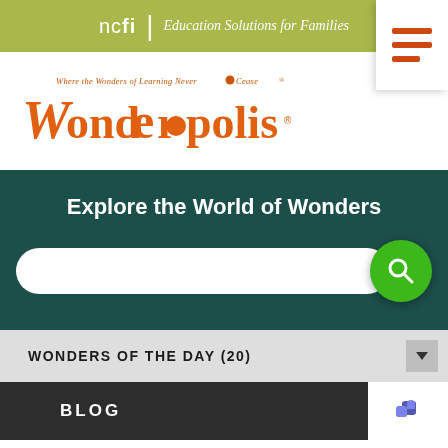ncfi | Education Solutions for Families
[Figure (logo): Wonderopolis logo - orange decorative text reading 'Wonderopolis' with tagline 'Where the Wonders of Learning Never Cease']
[Figure (screenshot): Hamburger menu icon with three orange horizontal lines on white background]
Explore the World of Wonders
WONDERS OF THE DAY (20)
BLOG
MOST RECENT